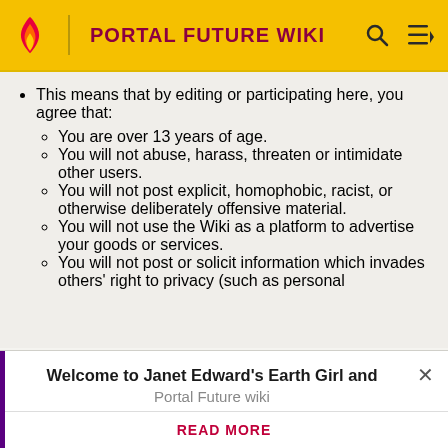PORTAL FUTURE WIKI
This means that by editing or participating here, you agree that:
You are over 13 years of age.
You will not abuse, harass, threaten or intimidate other users.
You will not post explicit, homophobic, racist, or otherwise deliberately offensive material.
You will not use the Wiki as a platform to advertise your goods or services.
You will not post or solicit information which invades others' right to privacy (such as personal
Welcome to Janet Edward's Earth Girl and Portal Future wiki
READ MORE